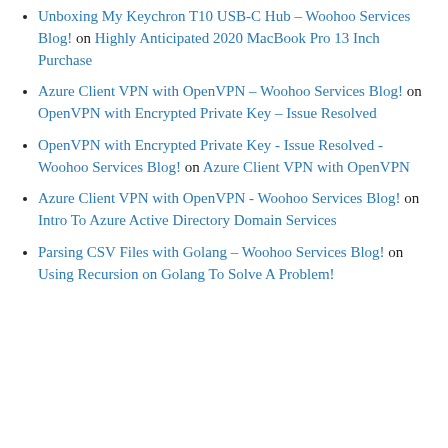Unboxing My Keychron T10 USB-C Hub - Woohoo Services Blog! on Highly Anticipated 2020 MacBook Pro 13 Inch Purchase
Azure Client VPN with OpenVPN - Woohoo Services Blog! on OpenVPN with Encrypted Private Key – Issue Resolved
OpenVPN with Encrypted Private Key - Issue Resolved - Woohoo Services Blog! on Azure Client VPN with OpenVPN
Azure Client VPN with OpenVPN - Woohoo Services Blog! on Intro To Azure Active Directory Domain Services
Parsing CSV Files with Golang - Woohoo Services Blog! on Using Recursion on Golang To Solve A Problem!